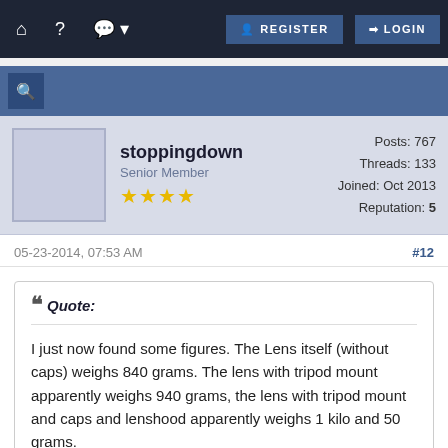⌂  ?  💬▾  REGISTER  LOGIN
[Figure (screenshot): Blue search bar with magnifying glass zoom icon button]
stoppingdown
Senior Member
★★★★
Posts: 767
Threads: 133
Joined: Oct 2013
Reputation: 5
05-23-2014, 07:53 AM  #12
❝ Quote:
I just now found some figures. The Lens itself (without caps) weighs 840 grams. The lens with tripod mount apparently weighs 940 grams, the lens with tripod mount and caps and lenshood apparently weighs 1 kilo and 50 grams.